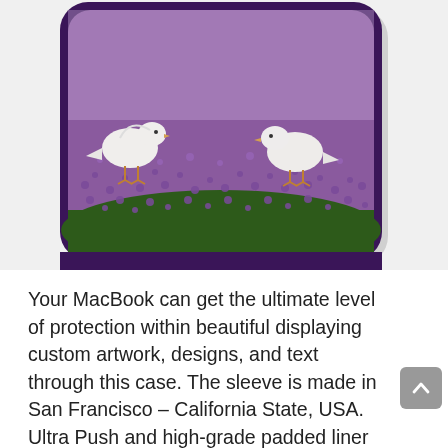[Figure (photo): Partial view of a phone case mockup showing two white birds (doves/pigeons) standing on purple flowering ground cover, displayed inside a dark purple phone case shell. The top portion of the image is cropped.]
Your MacBook can get the ultimate level of protection within beautiful displaying custom artwork, designs, and text through this case. The sleeve is made in San Francisco – California State, USA. Ultra Push and high-grade padded liner for MacBook as well the same size for another laptop. Best Sleeve for 13 inch MacBook Pro Retina Display. You can give order any other colors for that you've to need to click on the customize button.